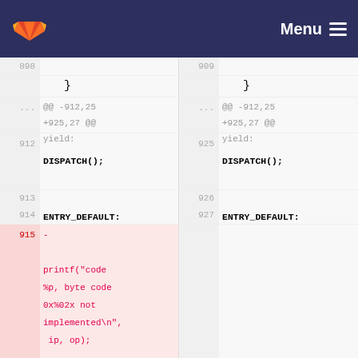[Figure (screenshot): GitLab logo and navigation bar with 'Menu' and hamburger icon on dark navy background]
Code diff view showing two panes side by side. Left pane (old): lines 898, closing brace, meta @@ -912,25 +925,27 @@ yield:, line 912 blank, DISPATCH();, 913, 914, ENTRY_DEFAULT:, line 915 deleted with dash, printf("code %p, byte code 0x%02x not implemented\n", ip, op);, line 916, obj1 =. Right pane (new): lines 909, closing brace, meta @@ -912,25 +925,27 @@ yield:, line 925 blank, DISPATCH();, 926, 927, ENTRY_DEFAULT:, line 928, obj1 =.